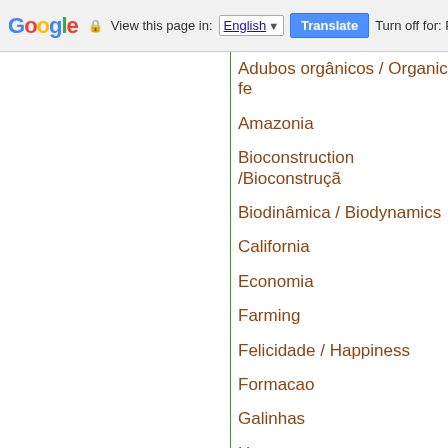Google  View this page in: English [▼]  Translate  Turn off for: P
Adubos orgânicos / Organic fe
Amazonia
Bioconstruction /Bioconstruçã
Biodinâmica / Biodynamics
California
Economia
Farming
Felicidade / Happiness
Formacao
Galinhas
How
Jardins de guerrilha / Guerilla